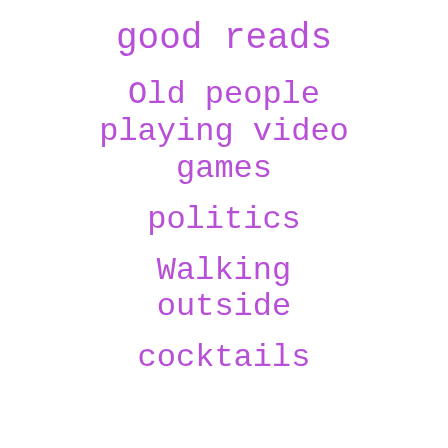good reads
Old people playing video games
politics
Walking outside
cocktails